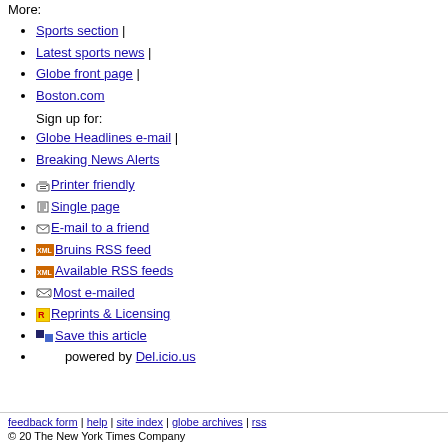More:
Sports section |
Latest sports news |
Globe front page |
Boston.com
Sign up for:
Globe Headlines e-mail |
Breaking News Alerts
Printer friendly
Single page
E-mail to a friend
Bruins RSS feed
Available RSS feeds
Most e-mailed
Reprints & Licensing
Save this article
powered by Del.icio.us
feedback form | help | site index | globe archives | rss
© 20 The New York Times Company